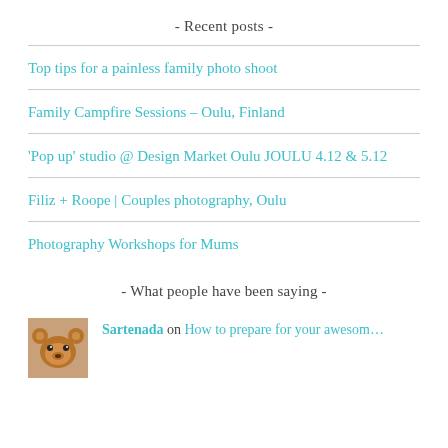- Recent posts -
Top tips for a painless family photo shoot
Family Campfire Sessions – Oulu, Finland
'Pop up' studio @ Design Market Oulu JOULU 4.12 & 5.12
Filiz + Roope | Couples photography, Oulu
Photography Workshops for Mums
- What people have been saying -
Sartenada on How to prepare for your awesom…